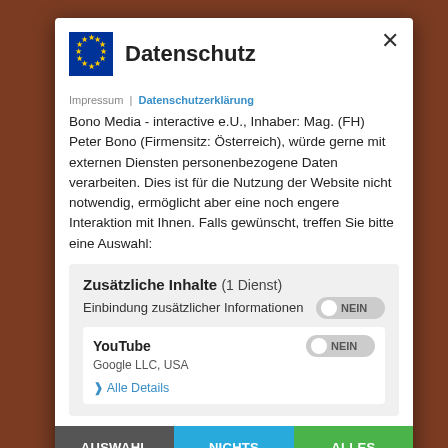Datenschutz
Impressum | Datenschutzerklärung
Bono Media - interactive e.U., Inhaber: Mag. (FH) Peter Bono (Firmensitz: Österreich), würde gerne mit externen Diensten personenbezogene Daten verarbeiten. Dies ist für die Nutzung der Website nicht notwendig, ermöglicht aber eine noch engere Interaktion mit Ihnen. Falls gewünscht, treffen Sie bitte eine Auswahl:
Zusätzliche Inhalte (1 Dienst)
Einbindung zusätzlicher Informationen NEIN
YouTube
Google LLC, USA
NEIN
❱ Alle Details
AUSWAHL AKZEPTIEREN
NICHTS AKZEPTIEREN
ALLES AKZEPTIEREN